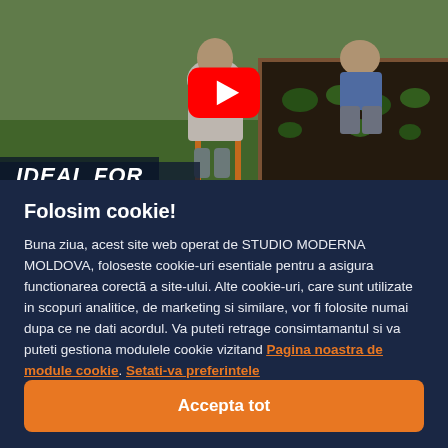[Figure (photo): YouTube video thumbnail showing two people gardening outdoors with raised garden beds. A YouTube play button is overlaid in the center. Text 'IDEAL FOR' appears in the bottom-left corner over a dark overlay.]
Folosim cookie!
Buna ziua, acest site web operat de STUDIO MODERNA MOLDOVA, foloseste cookie-uri esentiale pentru a asigura functionarea corectă a site-ului. Alte cookie-uri, care sunt utilizate in scopuri analitice, de marketing si similare, vor fi folosite numai dupa ce ne dati acordul. Va puteti retrage consimtamantul si va puteti gestiona modulele cookie vizitand Pagina noastra de module cookie. Setati-va preferintele
Accepta tot